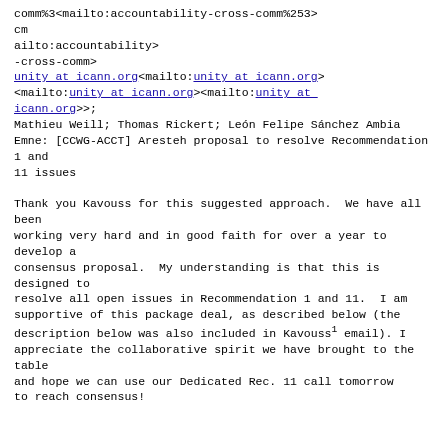comm%3<mailto:accountability-cross-comm%253>
cm
ailto:accountability>
-cross-comm>
unity at icann.org<mailto:unity at icann.org>
<mailto:unity at icann.org><mailto:unity at icann.org>>;
Mathieu Weill; Thomas Rickert; León Felipe Sánchez Ambia
Emne: [CCWG-ACCT] Aresteh proposal to resolve Recommendation 1 and
11 issues

Thank you Kavouss for this suggested approach.  We have all been
working very hard and in good faith for over a year to develop a
consensus proposal.  My understanding is that this is designed to
resolve all open issues in Recommendation 1 and 11.  I am
supportive of this package deal, as described below (the
description below was also included in Kavouss¹ email). I
appreciate the collaborative spirit we have brought to the table
and hope we can use our Dedicated Rec. 11 call tomorrow to reach consensus!